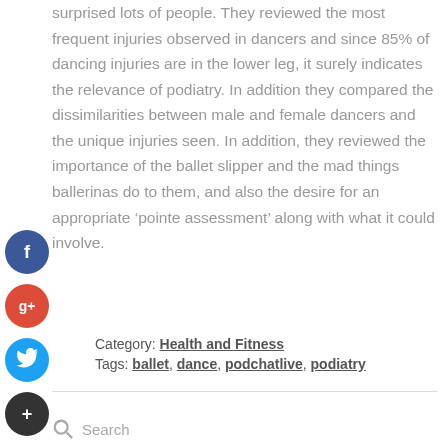surprised lots of people. They reviewed the most frequent injuries observed in dancers and since 85% of dancing injuries are in the lower leg, it surely indicates the relevance of podiatry. In addition they compared the dissimilarities between male and female dancers and the unique injuries seen. In addition, they reviewed the importance of the ballet slipper and the mad things ballerinas do to them, and also the desire for an appropriate ‘pointe assessment’ along with what it could involve.
[Figure (other): Social share icons: Facebook (blue circle with f), Google+ (red circle with g+), Twitter (blue circle with bird), Plus (dark circle with +)]
Category: Health and Fitness
Tags: ballet, dance, podchatlive, podiatry
Search